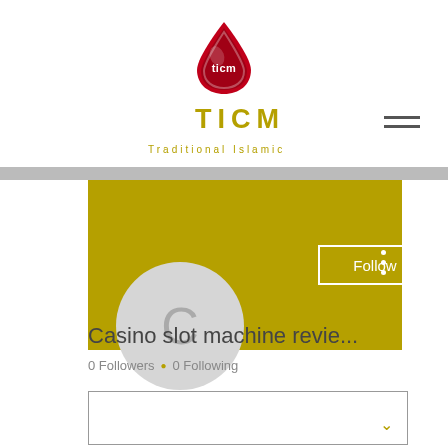[Figure (logo): TICM logo — red droplet shape with 'ticm' text in white inside]
TICM
Traditional Islamic &Chinese Medicine
[Figure (screenshot): Gold banner background with Follow button and three-dot menu]
[Figure (illustration): Gray circle avatar with letter C]
Casino slot machine revie...
0 Followers • 0 Following
[Figure (other): Empty white box with gold chevron/down arrow on right side]